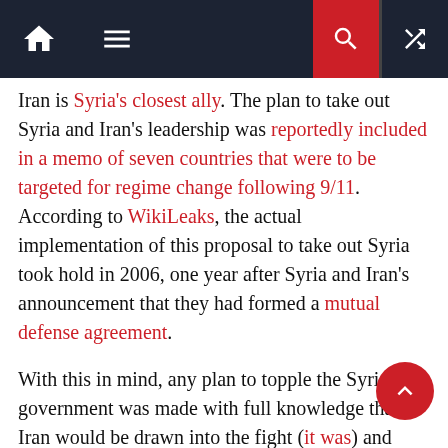Navigation bar with home, menu, search, and shuffle icons
Iran is Syria's closest ally. The plan to take out Syria and Iran's leadership was reportedly included in a memo of seven countries that were to be targeted for regime change following 9/11. According to WikiLeaks, the actual implementation of this proposal to take out Syria took hold in 2006, one year after Syria and Iran's announcement that they had formed a mutual defense agreement.
With this in mind, any plan to topple the Syrian government was made with full knowledge that Iran would be drawn into the fight (it was) and continued with this knowledge for eleven years.
If Iran had bailed on its support for the Syrian government, then the Syrian government would have become an even easier stand-alone target, and Iran would have lost a vital ally in a very short space of time. The decision was,